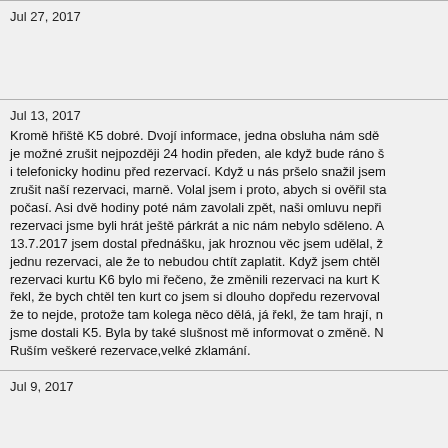Jul 27, 2017
Jul 13, 2017
Kromě hřiště K5 dobré. Dvojí informace, jedna obsluha nám sděl je možné zrušit nejpozději 24 hodin předen, ale když bude ráno š i telefonicky hodinu před rezervací. Když u nás pršelo snažil jsem zrušit naší rezervaci, marně. Volal jsem i proto, abych si ověřil sta počasí. Asi dvě hodiny poté nám zavolali zpět, naši omluvu nepři rezervaci jsme byli hrát ještě párkrát a nic nám nebylo sděleno. A 13.7.2017 jsem dostal přednášku, jak hroznou věc jsem udělal, ž jednu rezervaci, ale že to nebudou chtít zaplatit. Když jsem chtěl rezervaci kurtu K6 bylo mi řečeno, že změnili rezervaci na kurt K řekl, že bych chtěl ten kurt co jsem si dlouho dopředu rezervoval že to nejde, protože tam kolega něco dělá, já řekl, že tam hrají, n jsme dostali K5. Byla by také slušnost mě informovat o změně. N Ruším veškeré rezervace,velké zklamání.
Jul 9, 2017